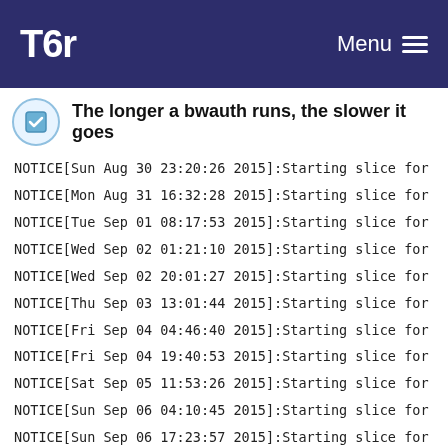Tor — Menu
The longer a bwauth runs, the slower it goes
NOTICE[Sun Aug 30 23:20:26 2015]:Starting slice for
NOTICE[Mon Aug 31 16:32:28 2015]:Starting slice for
NOTICE[Tue Sep 01 08:17:53 2015]:Starting slice for
NOTICE[Wed Sep 02 01:21:10 2015]:Starting slice for
NOTICE[Wed Sep 02 20:01:27 2015]:Starting slice for
NOTICE[Thu Sep 03 13:01:44 2015]:Starting slice for
NOTICE[Fri Sep 04 04:46:40 2015]:Starting slice for
NOTICE[Fri Sep 04 19:40:53 2015]:Starting slice for
NOTICE[Sat Sep 05 11:53:26 2015]:Starting slice for
NOTICE[Sun Sep 06 04:10:45 2015]:Starting slice for
NOTICE[Sun Sep 06 17:23:57 2015]:Starting slice for
NOTICE[Mon Sep 07 07:20:15 2015]:Starting slice for
NOTICE[Tue Sep 08 09:20:31 2015]:Starting slice for
NOTICE[Wed Sep 09 09:01:59 2015]:Starting slice for
NOTICE[Thu Sep 10 00:39:48 2015]:Starting slice for
NOTICE[Thu Sep 10 20:55:46 2015]:Starting slice for
NOTICE[Fri Sep 11 12:20:56 2015]:Starting slice for
NOTICE[Sat Sep 12 05:55:09 2015]:Starting slice for